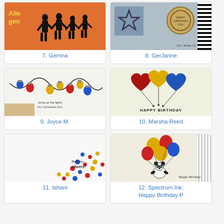[Figure (illustration): Card image by Gerrina - orange background with silhouette figures and text 'Alle gen']
7. Gerrina
[Figure (illustration): Card image by GerJanne - blue/grey background with star stamp and circular stamp, striped border]
8. GerJanne
[Figure (illustration): Card image by Joyce M. - white card with string of colorful Christmas lights]
9. Joyce M.
[Figure (illustration): Card image by Marsha Reed - light yellow background with heart-shaped balloons in red, yellow, blue and Happy Birthday text]
10. Marsha Reed
[Figure (illustration): Card image by Ishani - white card with colorful polka dots and Birthday Cheers text]
11. Ishani
[Figure (illustration): Card image by Spectrum Ink - white card with round balloons and panda holding them, Happy Birthday text, striped border]
12. Spectrum Ink:
Happy Birthday P